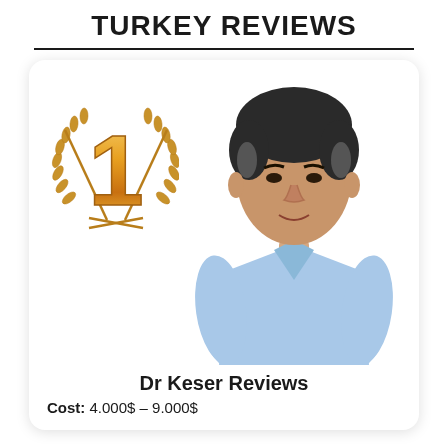TURKEY REVIEWS
[Figure (illustration): Card with gold number 1 laurel wreath badge on the left and a male doctor in light blue scrubs on the right]
Dr Keser Reviews
Cost: 4.000$ – 9.000$